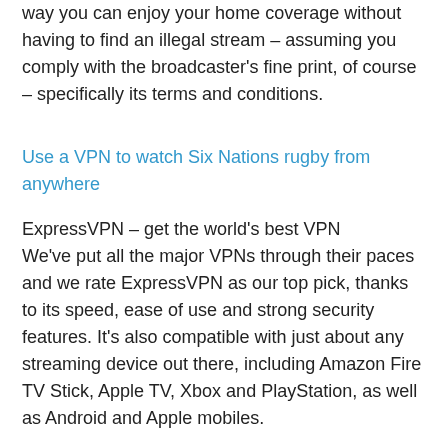way you can enjoy your home coverage without having to find an illegal stream – assuming you comply with the broadcaster's fine print, of course – specifically its terms and conditions.
Use a VPN to watch Six Nations rugby from anywhere
ExpressVPN – get the world's best VPN
We've put all the major VPNs through their paces and we rate ExpressVPN as our top pick, thanks to its speed, ease of use and strong security features. It's also compatible with just about any streaming device out there, including Amazon Fire TV Stick, Apple TV, Xbox and PlayStation, as well as Android and Apple mobiles.
Sign up for an annual plan now and get an extra 3 months absolutely FREE. And if you change your mind within the first